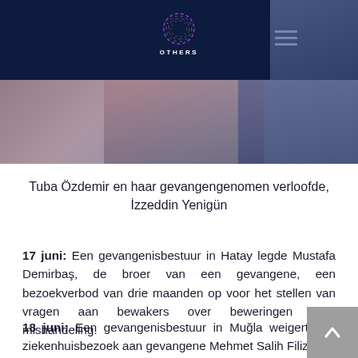OTHERS
[Figure (photo): Partial photo of two people, Tuba Özdemir and her detained fiancé İzzeddin Yenigün]
Tuba Özdemir en haar gevangengenomen verloofde, İzzeddin Yenigün
17 juni: Een gevangenisbestuur in Hatay legde Mustafa Demirbaş, de broer van een gevangene, een bezoekverbod van drie maanden op voor het stellen van vragen aan bewakers over beweringen rond mishandeling.
18 juni: Een gevangenisbestuur in Muğla weigert een ziekenhuisbezoek aan gevangene Mehmet Salih Filiz,